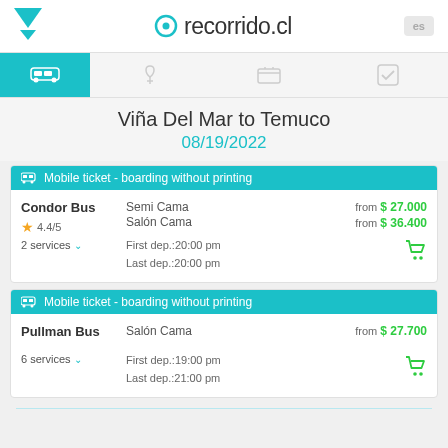recorrido.cl
Viña Del Mar to Temuco
08/19/2022
Mobile ticket - boarding without printing
Condor Bus
4.4/5
2 services
Semi Cama
Salón Cama
from $ 27.000
from $ 36.400
First dep.:20:00 pm
Last dep.:20:00 pm
Mobile ticket - boarding without printing
Pullman Bus
6 services
Salón Cama
from $ 27.700
First dep.:19:00 pm
Last dep.:21:00 pm